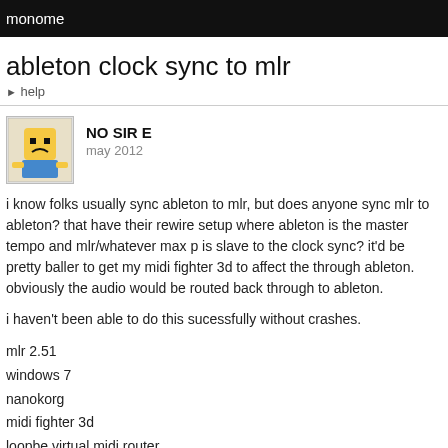monome
ableton clock sync to mlr
▸ help
NO SIR E
may 2012
i know folks usually sync ableton to mlr, but does anyone sync mlr to ableton? that have their rewire setup where ableton is the master tempo and mlr/whatever max p is slave to the clock sync? it'd be pretty baller to get my midi fighter 3d to affect the through ableton. obviously the audio would be routed back through to ableton.

i haven't been able to do this sucessfully without crashes.

mlr 2.51
windows 7
nanokorg
midi fighter 3d
loopbe virtual midi router
phantasmagoria
november 2012
this is what i want to do too! anyone know how to do this?